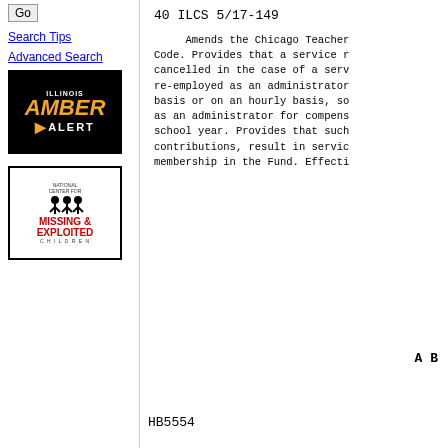Go
Search Tips
Advanced Search
[Figure (illustration): Illinois Amber Alert logo — black background with orange 'AMBER' text and 'ILLINOIS' above and 'ALERT' below]
[Figure (logo): National Center for Missing & Exploited Children logo with silhouette figures]
40 ILCS 5/17-149
Amends the Chicago Teacher Code. Provides that a service r cancelled in the case of a serv re-employed as an administrator basis or on an hourly basis, so as an administrator for compens school year. Provides that such contributions, result in servic membership in the Fund. Effecti
A B
HB5554